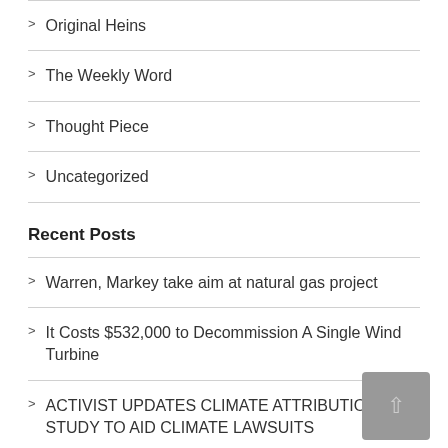Original Heins
The Weekly Word
Thought Piece
Uncategorized
Recent Posts
Warren, Markey take aim at natural gas project
It Costs $532,000 to Decommission A Single Wind Turbine
ACTIVIST UPDATES CLIMATE ATTRIBUTION STUDY TO AID CLIMATE LAWSUITS